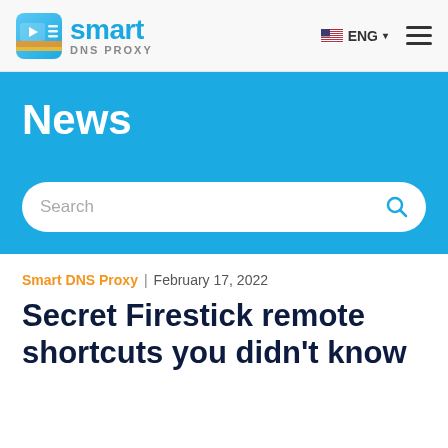Smart DNS Proxy — smart DNS PROXY — ENG — hamburger menu
[Figure (screenshot): Smart DNS Proxy website header with logo, ENG language selector, and hamburger menu]
News
[Figure (other): Search bar with placeholder text 'Search' and blue magnifying glass icon]
Smart DNS Proxy | February 17, 2022
Secret Firestick remote shortcuts you didn't know